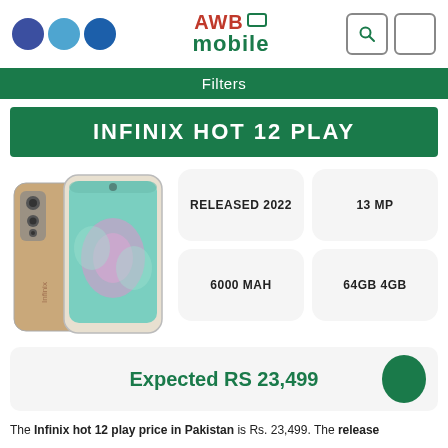AWB Mobile
Filters
INFINIX HOT 12 PLAY
[Figure (photo): Photo of Infinix Hot 12 Play smartphone showing front and back views in gold/champagne color]
RELEASED 2022
13 MP
6000 MAH
64GB 4GB
Expected RS 23,499
The Infinix hot 12 play price in Pakistan is Rs. 23,499. The release